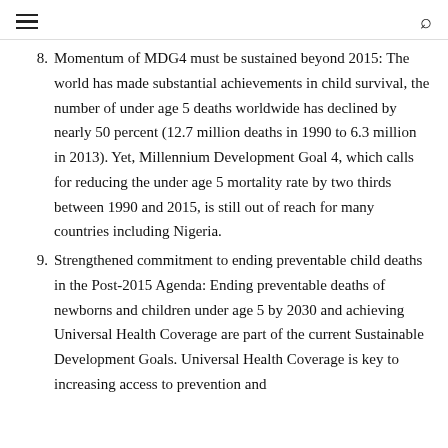≡  🔍
8. Momentum of MDG4 must be sustained beyond 2015: The world has made substantial achievements in child survival, the number of under age 5 deaths worldwide has declined by nearly 50 percent (12.7 million deaths in 1990 to 6.3 million in 2013). Yet, Millennium Development Goal 4, which calls for reducing the under age 5 mortality rate by two thirds between 1990 and 2015, is still out of reach for many countries including Nigeria.
9. Strengthened commitment to ending preventable child deaths in the Post-2015 Agenda: Ending preventable deaths of newborns and children under age 5 by 2030 and achieving Universal Health Coverage are part of the current Sustainable Development Goals. Universal Health Coverage is key to increasing access to prevention and